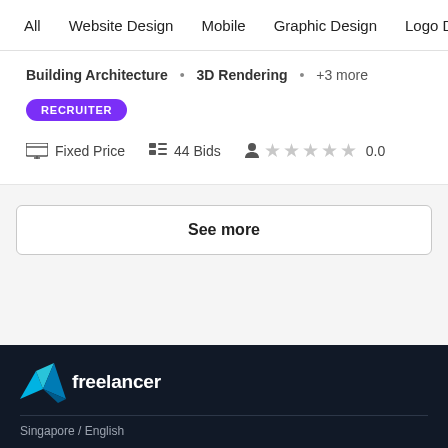All  Website Design  Mobile  Graphic Design  Logo Desi…
Building Architecture · 3D Rendering · +3 more
RECRUITER
Fixed Price   44 Bids   0.0
See more
[Figure (logo): Freelancer logo — teal/blue origami bird with 'freelancer' text in white on dark navy background]
Singapore / English